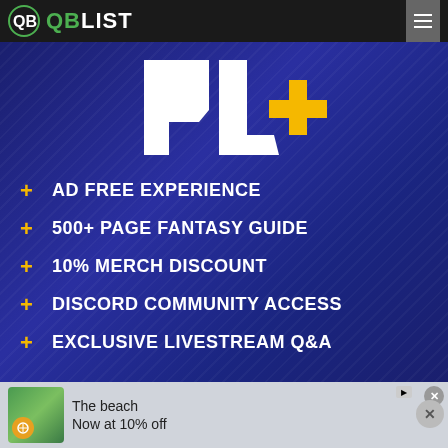QB LIST
[Figure (logo): PL+ logo in white and gold on dark blue background]
+ AD FREE EXPERIENCE
+ 500+ PAGE FANTASY GUIDE
+ 10% MERCH DISCOUNT
+ DISCORD COMMUNITY ACCESS
+ EXCLUSIVE LIVESTREAM Q&A
[Figure (photo): Advertisement banner: The beach, Now at 10% off, with beach scene photo and orange compass icon]